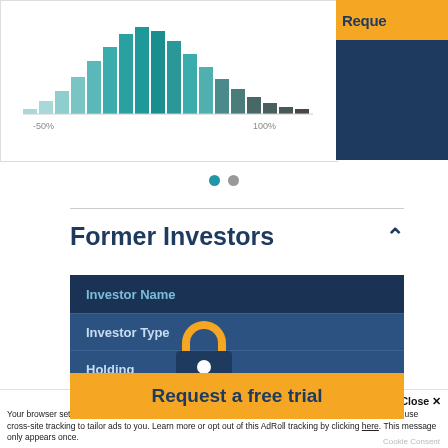[Figure (continuous-plot): Partial bell curve / histogram distribution chart shown at top left, teal/blue colored bars forming a distribution shape, x-axis labels partially visible showing percentage values around -50% and 100%]
[Figure (other): Partial orange 'Reque...' button visible at top right on dark blue background]
[Figure (other): Two navigation dots - first teal/active, second grey/inactive]
Former Investors
| Investor Name |
| --- |
| Investor Type |
| Holding |
| Investor Since |
| Par... |
[Figure (other): Lock icon overlay with orange semicircle on top and dark blue padlock body with keyhole, overlaid on the table]
[Figure (other): Orange 'Request a free trial' button overlaid on the table area]
Accept and Close ✕
Your browser settings do not allow cross-site tracking for advertising. Click on this page to allow AdRoll to use cross-site tracking to tailor ads to you. Learn more or opt out of this AdRoll tracking by clicking here. This message only appears once.